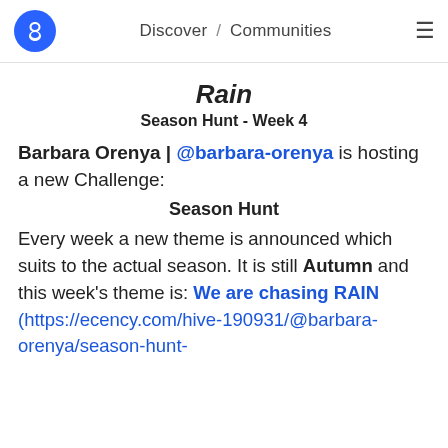Discover / Communities
Rain
Season Hunt - Week 4
Barbara Orenya | @barbara-orenya is hosting a new Challenge:
Season Hunt
Every week a new theme is announced which suits to the actual season. It is still Autumn and this week's theme is: We are chasing RAIN (https://ecency.com/hive-190931/@barbara-orenya/season-hunt-